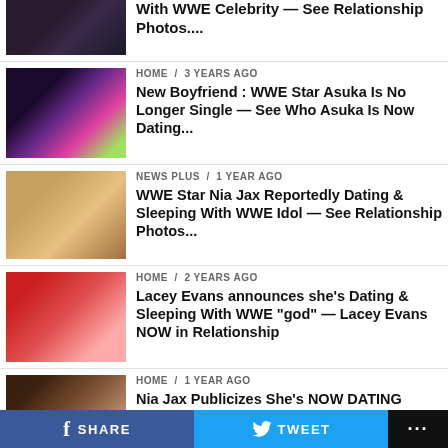With WWE Celebrity — See Relationship Photos....
HOME / 3 years ago
New Boyfriend : WWE Star Asuka Is No Longer Single — See Who Asuka Is Now Dating...
NEWS PLUS / 1 year ago
WWE Star Nia Jax Reportedly Dating & Sleeping With WWE Idol — See Relationship Photos...
HOME / 2 years ago
Lacey Evans announces she's Dating & Sleeping With WWE "god" — Lacey Evans NOW in Relationship
HOME / 1 year ago
Nia Jax Publicizes She's NOW DATING WWE Celebrity — See Relationship Photos...